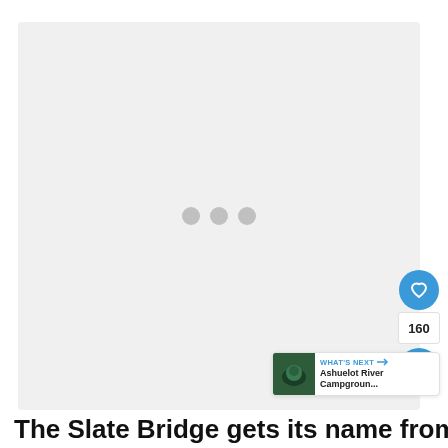[Figure (photo): Large image placeholder area with loading dots (three gray circles) centered in a light gray rectangle, representing a loading or placeholder state for a photo.]
[Figure (infographic): UI overlay with a blue heart/like button, like count of 160, and a blue share button on the right side of the image area.]
[Figure (infographic): WHAT'S NEXT card showing a thumbnail of Ashuelot River Campground with text 'Ashuelot River Campgroun...']
The Slate Bridge gets its name from